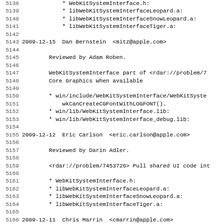Code changelog/log view showing lines 5138-5170 of a WebKit source file with commit entries dated 2009-12-15 (Dan Bernstein), 2009-12-12 (Eric Carlson), and 2009-12-11 (Chris Marrin).